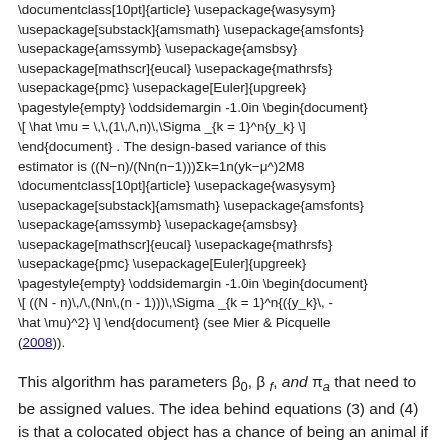\documentclass[10pt]{article} \usepackage{wasysym} \usepackage[substack]{amsmath} \usepackage{amsfonts} \usepackage{amssymb} \usepackage{amsbsy} \usepackage[mathscr]{eucal} \usepackage{mathrsfs} \usepackage{pmc} \usepackage[Euler]{upgreek} \pagestyle{empty} \oddsidemargin -1.0in \begin{document} \[ \hat \mu = \,\,(1\,/\,n)\,\Sigma _{k = 1}^n{y_k} \] \end{document} . The design-based variance of this estimator is ((N−n)/(Nn(n−1)))Σk=1n(yk−μ^)2M8 \documentclass[10pt]{article} \usepackage{wasysym} \usepackage[substack]{amsmath} \usepackage{amsfonts} \usepackage{amssymb} \usepackage{amsbsy} \usepackage[mathscr]{eucal} \usepackage{mathrsfs} \usepackage{pmc} \usepackage[Euler]{upgreek} \pagestyle{empty} \oddsidemargin -1.0in \begin{document} \[ ((N - n)\,/\,(Nn\,(n - 1)))\,\Sigma _{k = 1}^n{({y_k}\, - \hat \mu)^2} \] \end{document} (see Mier & Picquelle (2008)).
This algorithm has parameters β₀, β_f, and π_a that need to be assigned values. The idea behind equations (3) and (4) is that a colocated object has a chance of being an animal if there is a nearby unique animal. Also, no GIS layers on habitat features are needed as the characteristics of how the animals use the landscape is captured by the locations of the g_k and h_k animals in the two